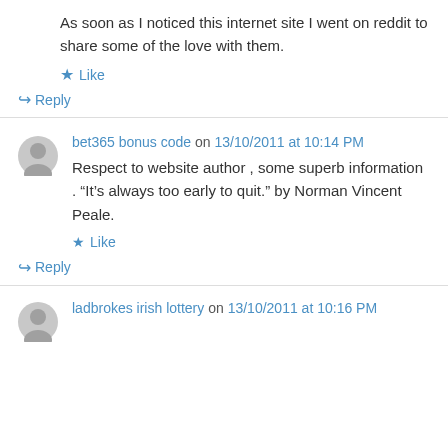As soon as I noticed this internet site I went on reddit to share some of the love with them.
★ Like
↪ Reply
bet365 bonus code on 13/10/2011 at 10:14 PM
Respect to website author , some superb information . “It’s always too early to quit.” by Norman Vincent Peale.
★ Like
↪ Reply
ladbrokes irish lottery on 13/10/2011 at 10:16 PM